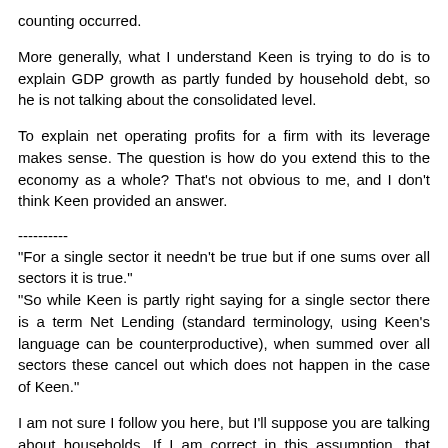counting occurred.
More generally, what I understand Keen is trying to do is to explain GDP growth as partly funded by household debt, so he is not talking about the consolidated level.
To explain net operating profits for a firm with its leverage makes sense. The question is how do you extend this to the economy as a whole? That's not obvious to me, and I don't think Keen provided an answer.
----------
"For a single sector it needn't be true but if one sums over all sectors it is true."
"So while Keen is partly right saying for a single sector there is a term Net Lending (standard terminology, using Keen's language can be counterproductive), when summed over all sectors these cancel out which does not happen in the case of Keen."
I am not sure I follow you here, but I'll suppose you are talking about households. If I am correct in this assumption, that precisely appears to be what Keen is trying to do (see